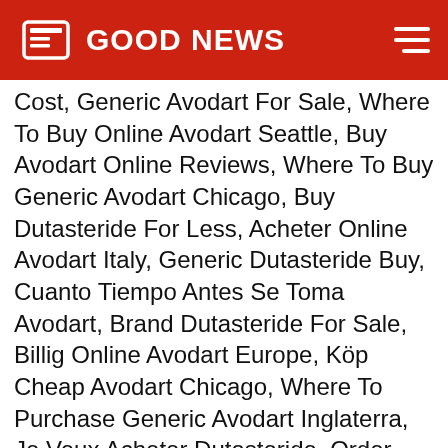GOOD NEWS
Cost, Generic Avodart For Sale, Where To Buy Online Avodart Seattle, Buy Avodart Online Reviews, Where To Buy Generic Avodart Chicago, Buy Dutasteride For Less, Acheter Online Avodart Italy, Generic Dutasteride Buy, Cuanto Tiempo Antes Se Toma Avodart, Brand Dutasteride For Sale, Billig Online Avodart Europe, Köp Cheap Avodart Chicago, Where To Purchase Generic Avodart Inglaterra, Je Veux Acheter Dutasteride, Order Cheap Avodart Sweden, Order Online Avodart Minneapolis, Cheap Online Dutasteride, Buy Avodart Online With Paypal, Where To Buy Online Avodart San